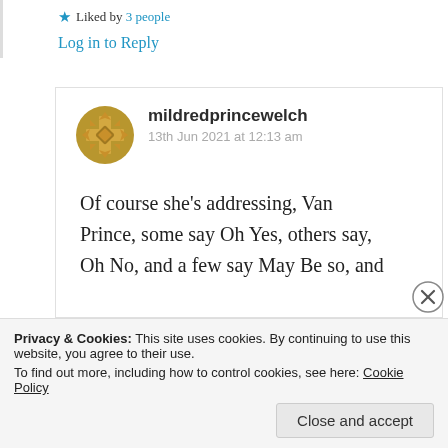★ Liked by 3 people
Log in to Reply
mildredprincewelch
13th Jun 2021 at 12:13 am
Of course she's addressing, Van Prince, some say Oh Yes, others say, Oh No, and a few say May Be so, and
Privacy & Cookies: This site uses cookies. By continuing to use this website, you agree to their use. To find out more, including how to control cookies, see here: Cookie Policy
Close and accept